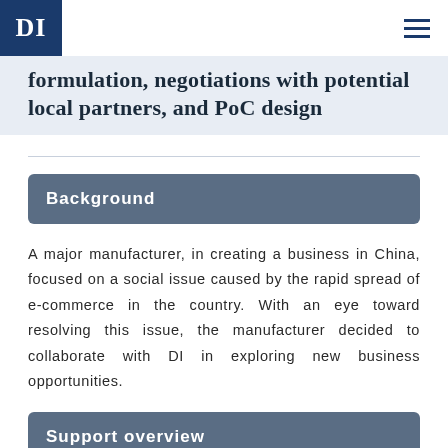DI
formulation, negotiations with potential local partners, and PoC design
Background
A major manufacturer, in creating a business in China, focused on a social issue caused by the rapid spread of e-commerce in the country. With an eye toward resolving this issue, the manufacturer decided to collaborate with DI in exploring new business opportunities.
Support overview